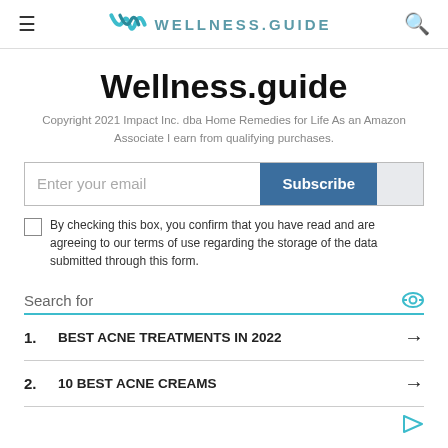≡ WELLNESS.GUIDE 🔍
Wellness.guide
Copyright 2021 Impact Inc. dba Home Remedies for Life As an Amazon Associate I earn from qualifying purchases.
Enter your email | Subscribe
By checking this box, you confirm that you have read and are agreeing to our terms of use regarding the storage of the data submitted through this form.
Search for
1. BEST ACNE TREATMENTS IN 2022
2. 10 BEST ACNE CREAMS